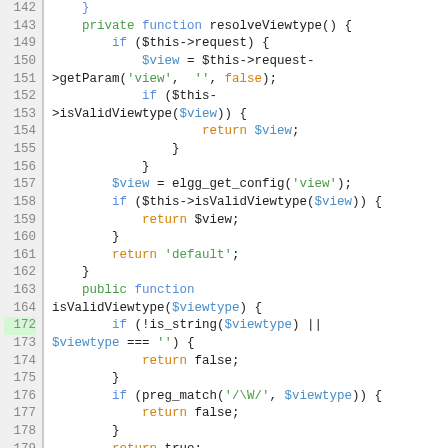[Figure (screenshot): PHP source code showing methods resolveViewtype() and isValidViewtype() with line numbers 142-191 on a white background with syntax highlighting. Line numbers are in grey on a light grey background. Keywords are in blue/green, variables in blue, return values in orange.]